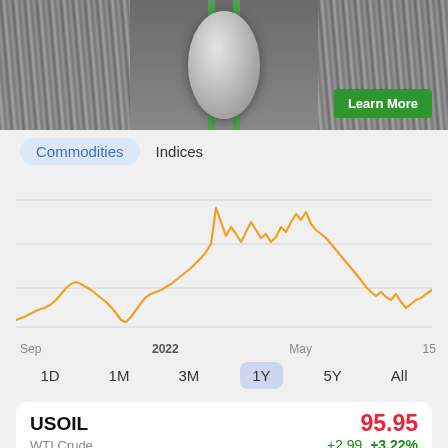[Figure (photo): Advertisement image showing a dental implant cross-section with green lines and a Learn More button]
Commodities   Indices
[Figure (line-chart): USOIL 1Y price chart]
1D  1M  3M  1Y  5Y  All
| Symbol | Price | Change | Change% |
| --- | --- | --- | --- |
| USOIL | 95.95 | +2.99 | +3.22% |
| WTI Crude |  |  |  |